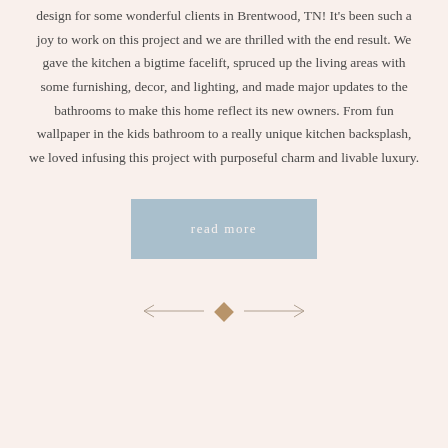design for some wonderful clients in Brentwood, TN! It's been such a joy to work on this project and we are thrilled with the end result. We gave the kitchen a bigtime facelift, spruced up the living areas with some furnishing, decor, and lighting, and made major updates to the bathrooms to make this home reflect its new owners. From fun wallpaper in the kids bathroom to a really unique kitchen backsplash, we loved infusing this project with purposeful charm and livable luxury.
read more
[Figure (other): Navigation arrows with diamond separator — left arrow, diamond, right arrow]